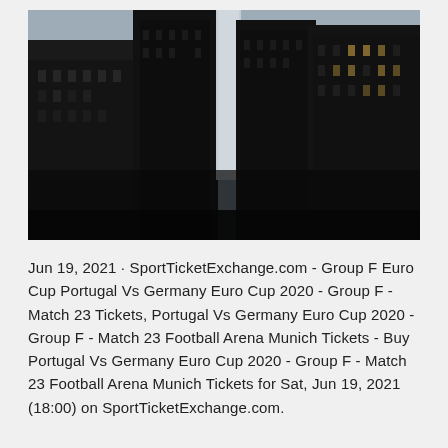[Figure (photo): Dark photograph of tall skyscrapers viewed from below, with a sliver of grey sky visible between the buildings. High-contrast urban architecture shot in low light.]
Jun 19, 2021 · SportTicketExchange.com - Group F Euro Cup Portugal Vs Germany Euro Cup 2020 - Group F - Match 23 Tickets, Portugal Vs Germany Euro Cup 2020 - Group F - Match 23 Football Arena Munich Tickets - Buy Portugal Vs Germany Euro Cup 2020 - Group F - Match 23 Football Arena Munich Tickets for Sat, Jun 19, 2021 (18:00) on SportTicketExchange.com.